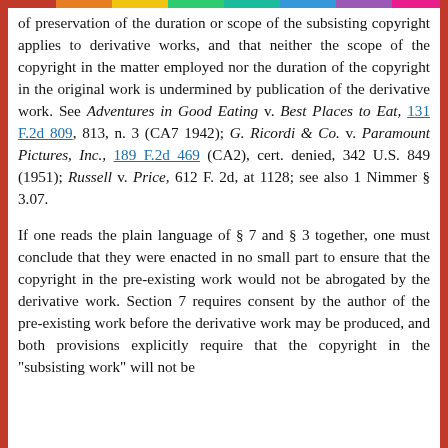of preservation of the duration or scope of the subsisting copyright applies to derivative works, and that neither the scope of the copyright in the matter employed nor the duration of the copyright in the original work is undermined by publication of the derivative work. See Adventures in Good Eating v. Best Places to Eat, 131 F.2d 809, 813, n. 3 (CA7 1942); G. Ricordi & Co. v. Paramount Pictures, Inc., 189 F.2d 469 (CA2), cert. denied, 342 U.S. 849 (1951); Russell v. Price, 612 F. 2d, at 1128; see also 1 Nimmer § 3.07.
If one reads the plain language of § 7 and § 3 together, one must conclude that they were enacted in no small part to ensure that the copyright in the pre-existing work would not be abrogated by the derivative work. Section 7 requires consent by the author of the pre-existing work before the derivative work may be produced, and both provisions explicitly require that the copyright in the "subsisting work" will not be